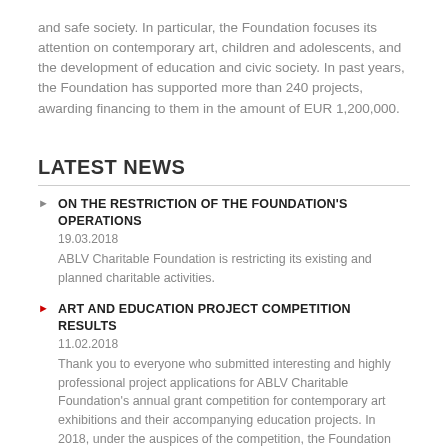and safe society. In particular, the Foundation focuses its attention on contemporary art, children and adolescents, and the development of education and civic society. In past years, the Foundation has supported more than 240 projects, awarding financing to them in the amount of EUR 1,200,000.
LATEST NEWS
ON THE RESTRICTION OF THE FOUNDATION'S OPERATIONS
19.03.2018
ABLV Charitable Foundation is restricting its existing and planned charitable activities.
ART AND EDUCATION PROJECT COMPETITION RESULTS
11.02.2018
Thank you to everyone who submitted interesting and highly professional project applications for ABLV Charitable Foundation's annual grant competition for contemporary art exhibitions and their accompanying education projects. In 2018, under the auspices of the competition, the Foundation will support five projects, awarding them total co-financing in the amount of EUR 34,750.